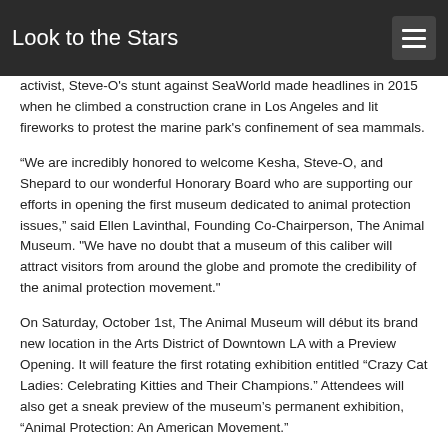Look to the Stars
activist, Steve-O's stunt against SeaWorld made headlines in 2015 when he climbed a construction crane in Los Angeles and lit fireworks to protest the marine park's confinement of sea mammals.
“We are incredibly honored to welcome Kesha, Steve-O, and Shepard to our wonderful Honorary Board who are supporting our efforts in opening the first museum dedicated to animal protection issues,” said Ellen Lavinthal, Founding Co-Chairperson, The Animal Museum. "We have no doubt that a museum of this caliber will attract visitors from around the globe and promote the credibility of the animal protection movement."
On Saturday, October 1st, The Animal Museum will début its brand new location in the Arts District of Downtown LA with a Preview Opening. It will feature the first rotating exhibition entitled “Crazy Cat Ladies: Celebrating Kitties and Their Champions.” Attendees will also get a sneak preview of the museum’s permanent exhibition, “Animal Protection: An American Movement.”
The Animal Museum is the first of its kind. Its existence reflects the